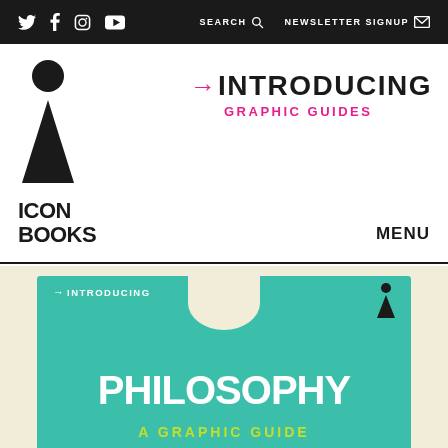Twitter Facebook Instagram YouTube | SEARCH | NEWSLETTER SIGNUP
[Figure (logo): Icon Books logo: black circle above a black triangle, with text ICON BOOKS below]
[Figure (logo): Introducing Graphic Guides brand logo with pink arrow and text]
MENU
[Figure (photo): Book cover of 'Introducing Philosophy: A Graphic Guide' on a cream background. Teal/green cover with white bold text PHILOSOPHY and yellow subtitle A GRAPHIC GUIDE. Small Introducing branding and Icon Books logo on cover.]